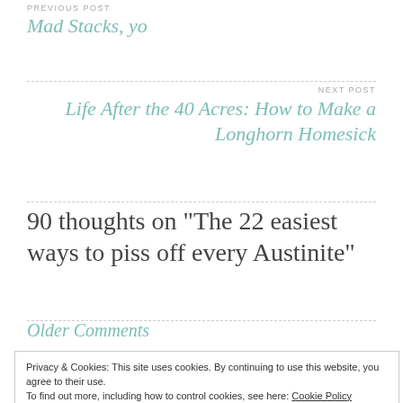PREVIOUS POST
Mad Stacks, yo
NEXT POST
Life After the 40 Acres: How to Make a Longhorn Homesick
90 thoughts on “The 22 easiest ways to piss off every Austinite”
Older Comments
Privacy & Cookies: This site uses cookies. By continuing to use this website, you agree to their use.
To find out more, including how to control cookies, see here: Cookie Policy
Close and accept